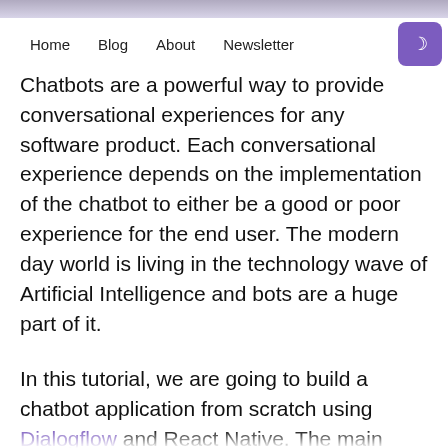Home  Blog  About  Newsletter
Chatbots are a powerful way to provide conversational experiences for any software product. Each conversational experience depends on the implementation of the chatbot to either be a good or poor experience for the end user. The modern day world is living in the technology wave of Artificial Intelligence and bots are a huge part of it.
In this tutorial, we are going to build a chatbot application from scratch using Dialogflow and React Native. The main reason to use Google's Dialogflow for this tutorial is that you do not have to go through a hefty signup process by providing your card details, unlike other bot frameworks or